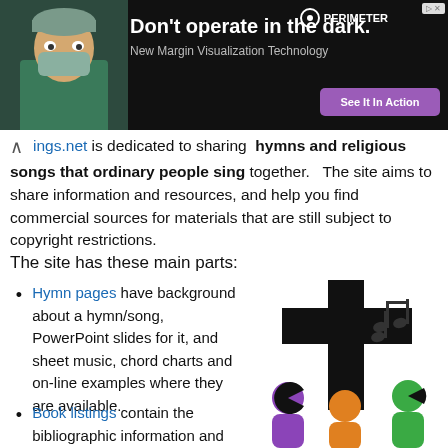[Figure (photo): Advertisement banner: doctor in surgical mask on dark background. Headline: Don't operate in the dark. Subtext: New Margin Visualization Technology. Purple CTA button: See It In Action. Perimeter logo top right.]
ings.net is dedicated to sharing hymns and religious songs that ordinary people sing together. The site aims to share information and resources, and help you find commercial sources for materials that are still subject to copyright restrictions.
The site has these main parts:
Hymn pages have background about a hymn/song, PowerPoint slides for it, and sheet music, chord charts and on-line examples where they are available.
Book listings contain the bibliographic information and detailed contents of
[Figure (illustration): Religious illustration: black Christian cross with musical notes, and three colored people figures below (purple, orange, green) representing a congregation singing together.]